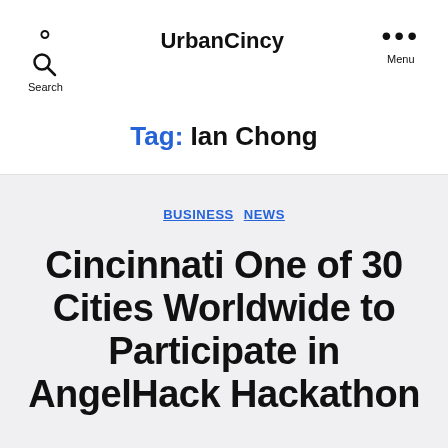UrbanCincy
Tag: Ian Chong
BUSINESS  NEWS
Cincinnati One of 30 Cities Worldwide to Participate in AngelHack Hackathon